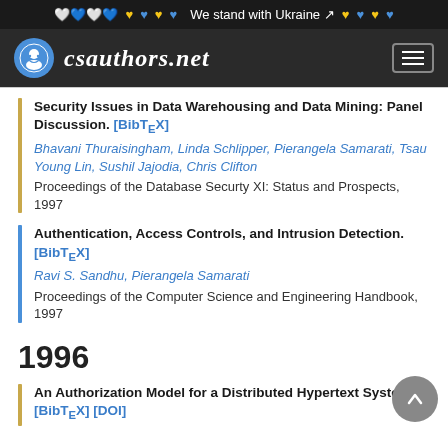We stand with Ukraine
[Figure (logo): csauthors.net logo with navigation bar]
Security Issues in Data Warehousing and Data Mining: Panel Discussion. [BibTeX]
Bhavani Thuraisingham, Linda Schlipper, Pierangela Samarati, Tsau Young Lin, Sushil Jajodia, Chris Clifton
Proceedings of the Database Securty XI: Status and Prospects, 1997
Authentication, Access Controls, and Intrusion Detection. [BibTeX]
Ravi S. Sandhu, Pierangela Samarati
Proceedings of the Computer Science and Engineering Handbook, 1997
1996
An Authorization Model for a Distributed Hypertext System. [BibTeX] [DOI]